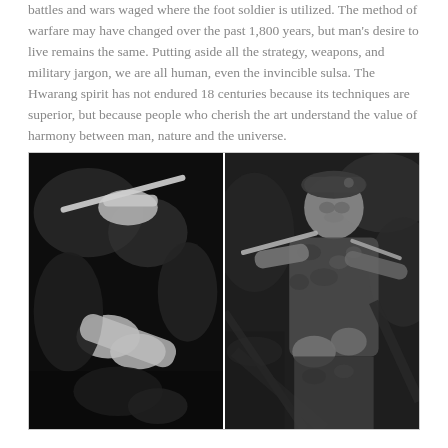battles and wars waged where the foot soldier is utilized. The method of warfare may have changed over the past 1,800 years, but man's desire to live remains the same. Putting aside all the strategy, weapons, and military jargon, we are all human, even the invincible sulsa. The Hwarang spirit has not endured 18 centuries because its techniques are superior, but because people who cherish the art understand the value of harmony between man, nature and the universe.
[Figure (photo): Two black and white photographs side by side. Left photo shows a close-up of hands holding what appears to be a weapon or stick in a dark setting. Right photo shows a soldier or fighter in camouflage gear and a beret, holding weapons, surrounded by foliage.]